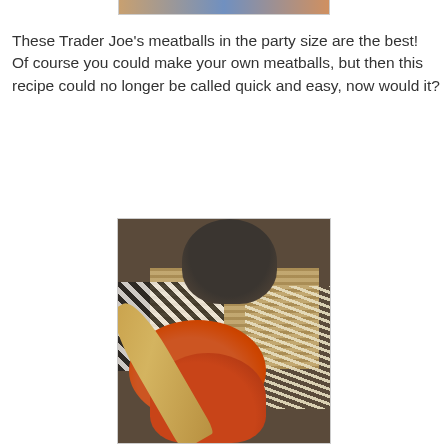[Figure (photo): Partial top image strip showing a colorful photo cropped at the top of the page]
These Trader Joe's meatballs in the party size are the best!
Of course you could make your own meatballs, but then this recipe could no longer be called quick and easy, now would it?
[Figure (photo): Food photo showing a wooden spoon with tomato-based sauce, meatballs, noodles/rice noodles, a dark bowl, and a wicker/rattan basket on a zebra-print surface]